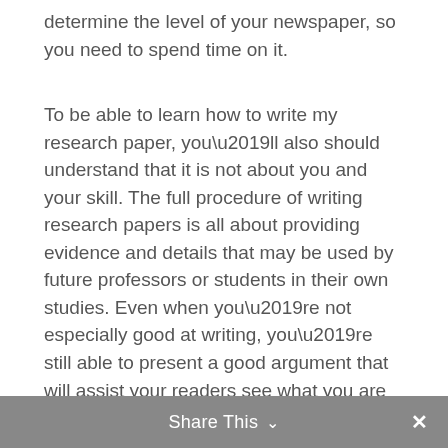determine the level of your newspaper, so you need to spend time on it.
To be able to learn how to write my research paper, you’ll also should understand that it is not about you and your skill. The full procedure of writing research papers is all about providing evidence and details that may be used by future professors or students in their own studies. Even when you’re not especially good at writing, you’re still able to present a good argument that will assist your readers see what you are saying is true and valid.
Share This ∨  ×